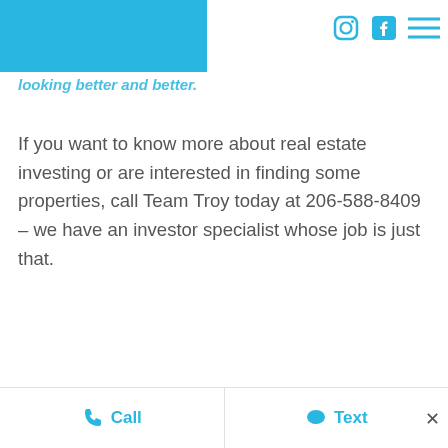looking better and better.
If you want to know more about real estate investing or are interested in finding some properties, call Team Troy today at 206-588-8409 – we have an investor specialist whose job is just that.
Call   Text